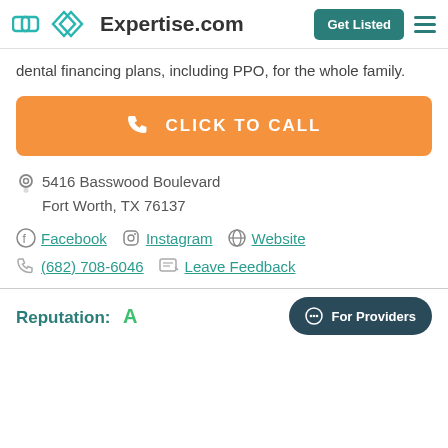Expertise.com | Get Listed
dental financing plans, including PPO, for the whole family.
[Figure (other): Orange 'CLICK TO CALL' button with phone icon]
5416 Basswood Boulevard Fort Worth, TX 76137
Facebook  Instagram  Website
(682) 708-6046  Leave Feedback
Reputation: A
For Providers